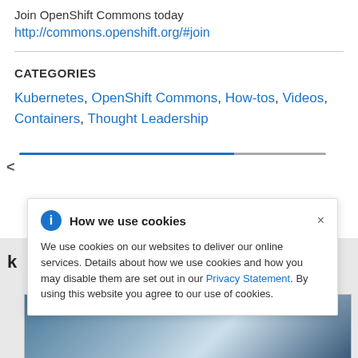Join OpenShift Commons today
http://commons.openshift.org/#join
CATEGORIES
Kubernetes, OpenShift Commons, How-tos, Videos, Containers, Thought Leadership
How we use cookies
We use cookies on our websites to deliver our online services. Details about how we use cookies and how you may disable them are set out in our Privacy Statement. By using this website you agree to our use of cookies.